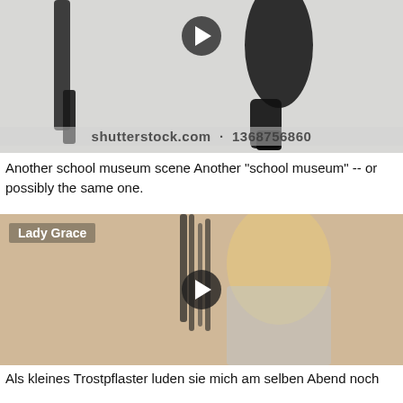[Figure (photo): Stock photo with play button overlay, showing legs in black outfit against white background. Watermark: shutterstock.com · 1368756860]
Another school museum scene Another "school museum" -- or possibly the same one.
[Figure (photo): Video thumbnail labeled 'Lady Grace' showing a blonde woman holding a whip, with play button overlay]
Als kleines Trostpflaster luden sie mich am selben Abend noch